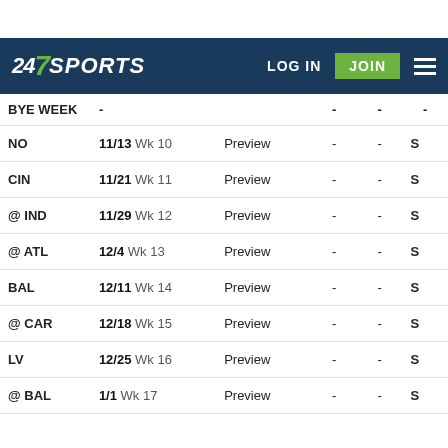247 SPORTS | LOG IN | JOIN
| Opponent | Date/Week | Preview | - | - | - |
| --- | --- | --- | --- | --- | --- |
| BYE WEEK | - | - | - | - | - |
| NO | 11/13 Wk 10 | Preview | - | - | S |
| CIN | 11/21 Wk 11 | Preview | - | - | S |
| @ IND | 11/29 Wk 12 | Preview | - | - | S |
| @ ATL | 12/4 Wk 13 | Preview | - | - | S |
| BAL | 12/11 Wk 14 | Preview | - | - | S |
| @ CAR | 12/18 Wk 15 | Preview | - | - | S |
| LV | 12/25 Wk 16 | Preview | - | - | S |
| @ BAL | 1/1 Wk 17 | Preview | - | - | S |